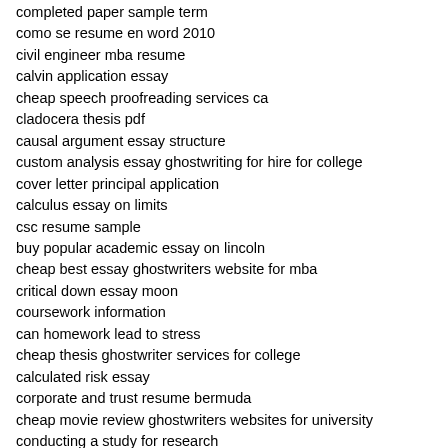completed paper sample term
como se resume en word 2010
civil engineer mba resume
calvin application essay
cheap speech proofreading services ca
cladocera thesis pdf
causal argument essay structure
custom analysis essay ghostwriting for hire for college
cover letter principal application
calculus essay on limits
csc resume sample
buy popular academic essay on lincoln
cheap best essay ghostwriters website for mba
critical down essay moon
coursework information
can homework lead to stress
cheap thesis ghostwriter services for college
calculated risk essay
corporate and trust resume bermuda
cheap movie review ghostwriters websites for university
conducting a study for research
compare and contrast mac and pc essay
custom article review writers websites ca
thesis writing service
write essays for me
buy essay
do my homework
narrative essay topics